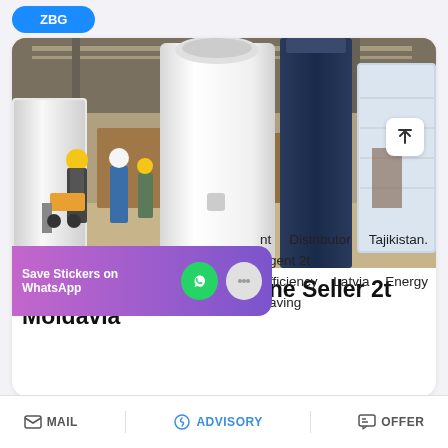[Figure (photo): Industrial factory floor with industrial boiler machines — a large white cylindrical boiler and a dark blue vertical boiler standing ready for shipment, workers in hard hats visible in background, warehouse setting with high ceilings]
Industrial Boiler Machine Seller 2t Moldavia
...nt Distributor Tajikistan. Agent 2t Efficiency Latvia Energy Saving
MAIL   ADVISORY   OFFER